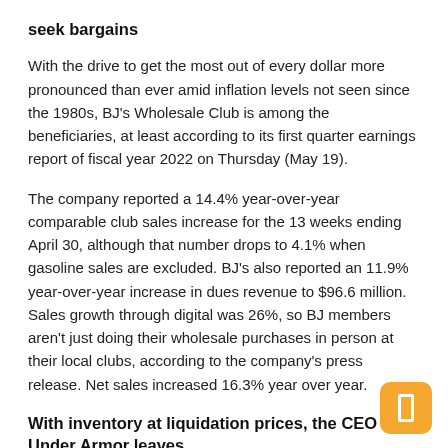seek bargains
With the drive to get the most out of every dollar more pronounced than ever amid inflation levels not seen since the 1980s, BJ's Wholesale Club is among the beneficiaries, at least according to its first quarter earnings report of fiscal year 2022 on Thursday (May 19).
The company reported a 14.4% year-over-year comparable club sales increase for the 13 weeks ending April 30, although that number drops to 4.1% when gasoline sales are excluded. BJ's also reported an 11.9% year-over-year increase in dues revenue to $96.6 million. Sales growth through digital was 26%, so BJ members aren't just doing their wholesale purchases in person at their local clubs, according to the company's press release. Net sales increased 16.3% year over year.
With inventory at liquidation prices, the CEO of Under Armor leaves
Under Armour, whose shares have been halved in the past six months, announced that CEO Patrik Frisk is stepping down after two